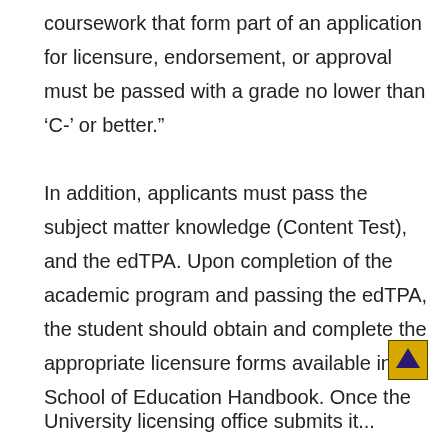coursework that form part of an application for licensure, endorsement, or approval must be passed with a grade no lower than ‘C-’ or better.”

In addition, applicants must pass the subject matter knowledge (Content Test), and the edTPA. Upon completion of the academic program and passing the edTPA, the student should obtain and complete the appropriate licensure forms available in the School of Education Handbook. Once the
University licensing office submits it...